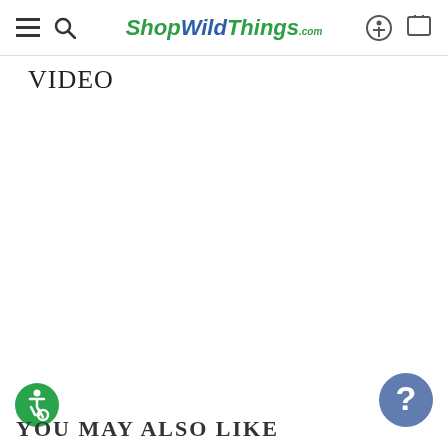ShopWildThings.com
VIDEO
[Figure (illustration): Accessibility icon — green circle with wheelchair user symbol]
YOU MAY ALSO LIKE
[Figure (illustration): Blue circle with white question mark — help/chat button]